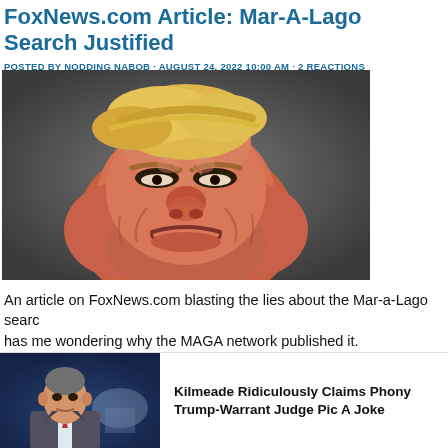FoxNews.com Article: Mar-A-Lago Search Justified
POSTED BY NODDING NABOB · AUGUST 24, 2022 10:00 AM · 2 REACTIONS
[Figure (photo): Caricature illustration of a man with an exaggerated, bulbous face looking angry, with blond hair, set against a dark grey background.]
An article on FoxNews.com blasting the lies about the Mar-a-Lago search has me wondering why the MAGA network published it.
[Figure (photo): Thumbnail image of a man in a suit speaking, with the US Capitol building visible in the background.]
Kilmeade Ridiculously Claims Phony Trump-Warrant Judge Pic A Joke